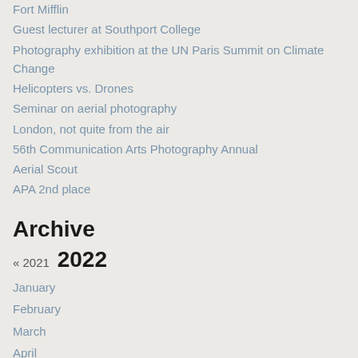Fort Mifflin
Guest lecturer at Southport College
Photography exhibition at the UN Paris Summit on Climate Change
Helicopters vs. Drones
Seminar on aerial photography
London, not quite from the air
56th Communication Arts Photography Annual
Aerial Scout
APA 2nd place
Archive
« 2021 2022
January
February
March
April
May
June
July
August